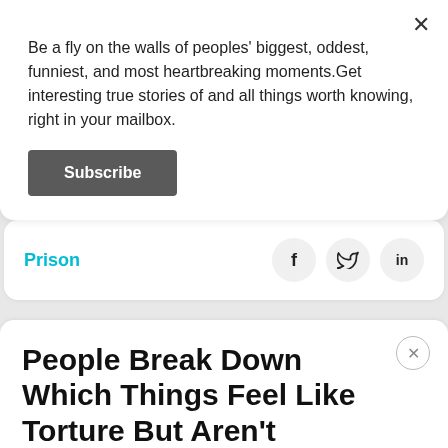Be a fly on the walls of peoples' biggest, oddest, funniest, and most heartbreaking moments.Get interesting true stories of and all things worth knowing, right in your mailbox.
Subscribe
Prison
People Break Down Which Things Feel Like Torture But Aren't
By Thomas Dane
June 03 | 2022